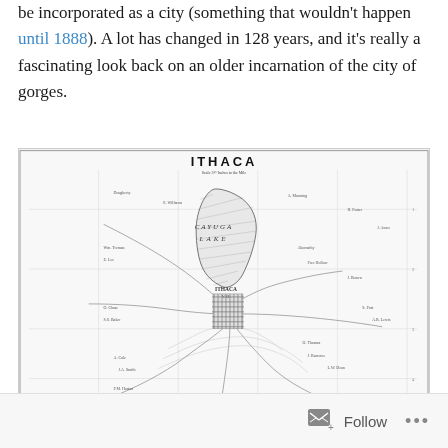be incorporated as a city (something that wouldn't happen until 1888). A lot has changed in 128 years, and it's really a fascinating look back on an older incarnation of the city of gorges.
[Figure (map): Historical map of Ithaca titled 'ITHACA' showing Cayuga Lake, the grid street layout of Ithaca village, surrounding roads, and topographic features in a vintage black and white cartographic style.]
Follow ...